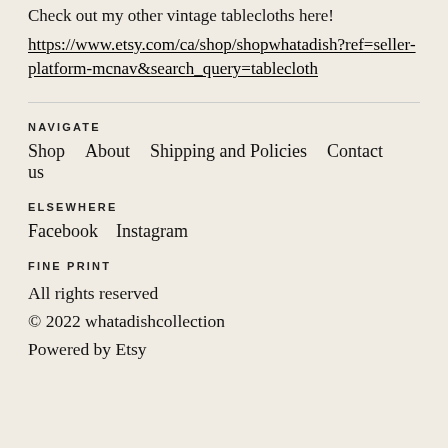Check out my other vintage tablecloths here!
https://www.etsy.com/ca/shop/shopwhatadish?ref=seller-platform-mcnav&search_query=tablecloth
NAVIGATE
Shop
About
Shipping and Policies
Contact us
ELSEWHERE
Facebook
Instagram
FINE PRINT
All rights reserved
© 2022 whatadishcollection
Powered by Etsy